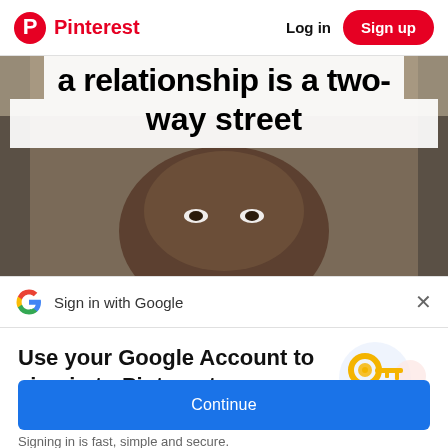Pinterest  Log in  Sign up
[Figure (screenshot): Pinterest pin showing a video with bold white text overlay reading 'a relationship is a two-way street' over a dark-skinned man's face.]
Sign in with Google
Use your Google Account to sign in to Pinterest
No more passwords to remember. Signing in is fast, simple and secure.
Continue